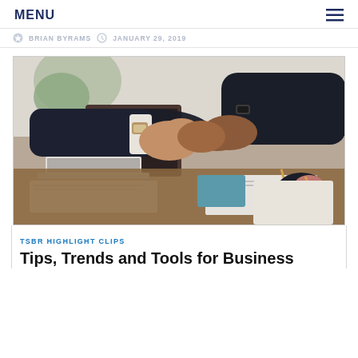MENU ≡
BRIAN BYRAMS  JANUARY 29, 2019
[Figure (photo): Two people in business attire shaking hands across a desk with a laptop and documents in the background]
TSBR HIGHLIGHT CLIPS
Tips, Trends and Tools for Business